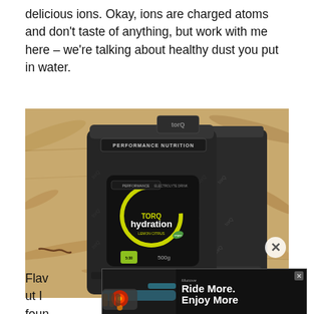delicious ions. Okay, ions are charged atoms and don't taste of anything, but work with me here – we're talking about healthy dust you put in water.
[Figure (photo): A dark metallic resealable pouch of TORQ Performance Nutrition hydration powder (500g), sitting on a wooden chipboard surface. The bag has the TORQ logo repeated across it and a circular label with 'TORQ hydration' text and a yellow/green swoosh graphic.]
Flavo... but I foun... very palat...